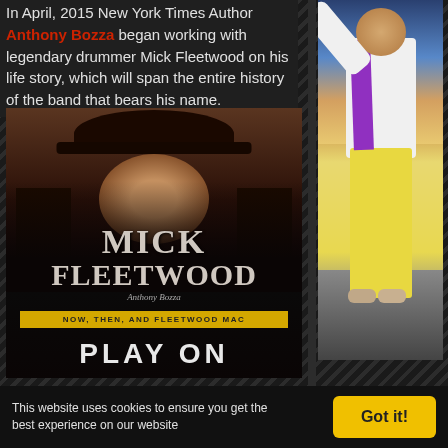In April, 2015 New York Times Author Anthony Bozza began working with legendary drummer Mick Fleetwood on his life story, which will span the entire history of the band that bears his name.
[Figure (photo): Book cover for 'Play On' by Mick Fleetwood with Anthony Bozza. Shows a man with long dark hair and a top hat. Text reads: MICK FLEETWOOD, Anthony Bozza, NOW, THEN, AND FLEETWOOD MAC, PLAY ON]
[Figure (photo): Photo of Mick Fleetwood standing on a beach wearing yellow pants, white shirt, and purple sequin vest, arm raised]
Mick
This website uses cookies to ensure you get the best experience on our website
Got it!